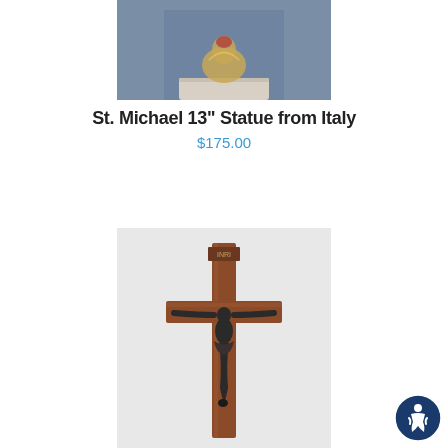[Figure (photo): Partial view of a St. Michael 13-inch statue from Italy on a white marble base, photographed against a blue-grey background. Only the lower portion of the statue is visible.]
St. Michael 13" Statue from Italy
$175.00
View
[Figure (photo): A wooden crucifix with a dark bronze-colored corpus (figure of Christ) mounted on a medium brown wooden cross, photographed against a light grey background.]